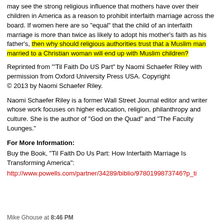may see the strong religious influence that mothers have over their children in America as a reason to prohibit interfaith marriage across the board. If women here are so "equal" that the child of an interfaith marriage is more than twice as likely to adopt his mother's faith as his father's, then why should religious authorities trust that a Muslim man married to a Christian woman will end up with Muslim children?
Reprinted from "'Til Faith Do US Part" by Naomi Schaefer Riley with permission from Oxford University Press USA. Copyright © 2013 by Naomi Schaefer Riley.
Naomi Schaefer Riley is a former Wall Street Journal editor and writer whose work focuses on higher education, religion, philanthropy and culture. She is the author of "God on the Quad" and "The Faculty Lounges."
For More Information:
Buy the Book, "Til Faith Do Us Part: How Interfaith Marriage Is Transforming America":
http://www.powells.com/partner/34289/biblio/9780199873746?p_ti
Mike Ghouse at 8:46 PM